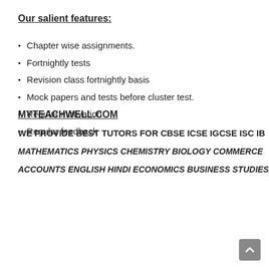Our salient features:
Chapter wise assignments.
Fortnightly tests
Revision class fortnightly basis
Mock papers and tests before cluster test.
Regular motivation
Regular feedback
MYTEACHWELL.COM
WE PROVIDE BEST TUTORS FOR CBSE ICSE IGCSE ISC IB
MATHEMATICS PHYSICS CHEMISTRY BIOLOGY COMMERCE
ACCOUNTS ENGLISH HINDI ECONOMICS BUSINESS STUDIES